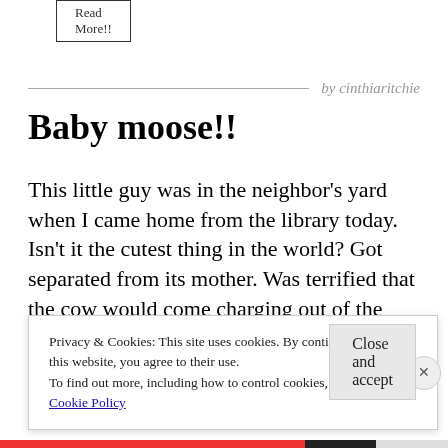Read More!!
by cinthiaritchie
Baby moose!!
This little guy was in the neighbor's yard when I came home from the library today. Isn't it the cutest thing in the world? Got separated from its mother. Was terrified that the cow would come charging out of the weeds and trapple me dead but thankfully that didn't happen. Yet.
Privacy & Cookies: This site uses cookies. By continuing to use this website, you agree to their use.
To find out more, including how to control cookies, see here: Cookie Policy
Close and accept